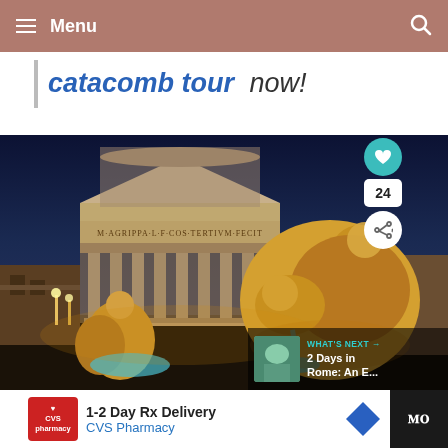Menu
catacomb tour now!
[Figure (photo): Nighttime photo of the Pantheon in Rome with a baroque fountain featuring lion and figure sculptures in the foreground. The Pantheon columns and inscription MAGRIPPALECOSTERTIUM are visible. Warm golden lighting on the fountain. Heart icon (24), share button, and 'WHAT'S NEXT' overlay showing '2 Days in Rome: An E...' with a thumbnail.]
WHAT'S NEXT → 2 Days in Rome: An E...
1-2 Day Rx Delivery CVS Pharmacy